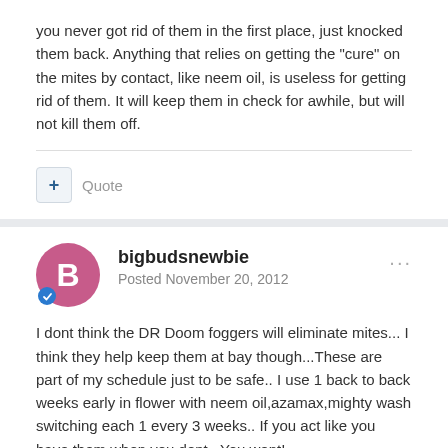you never got rid of them in the first place, just knocked them back. Anything that relies on getting the "cure" on the mites by contact, like neem oil, is useless for getting rid of them. It will keep them in check for awhile, but will not kill them off.
+ Quote
bigbudsnewbie
Posted November 20, 2012
I dont think the DR Doom foggers will eliminate mites... I think they help keep them at bay though...These are part of my schedule just to be safe.. I use 1 back to back weeks early in flower with neem oil,azamax,mighty wash switching each 1 every 3 weeks.. If you act like you have them when you dont.. You wont!